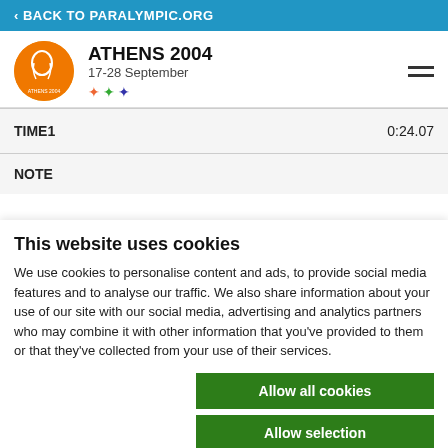< BACK TO PARALYMPIC.ORG
ATHENS 2004
17-28 September
| TIME1 | 0:24.07 |
| NOTE |  |
This website uses cookies
We use cookies to personalise content and ads, to provide social media features and to analyse our traffic. We also share information about your use of our site with our social media, advertising and analytics partners who may combine it with other information that you've provided to them or that they've collected from your use of their services.
Allow all cookies
Allow selection
Use necessary cookies only
Necessary   Preferences   Statistics   Marketing   Show details